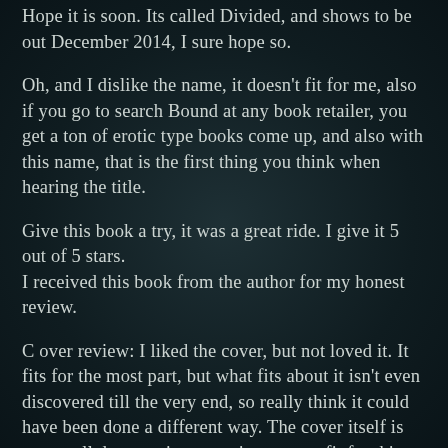Hope it is soon. Its called Divided, and shows to be out December 2014, I sure hope so.
Oh, and I dislike the name, it doesn't fit for me, also if you go to search Bound at any book retailer, you get a ton of erotic type books come up, and also with this name, that is the first thing you think when hearing the title.
Give this book a try, it was a great ride. I give it 5 out of 5 stars.
I received this book from the author for my honest review.
C over review: I liked the cover, but not loved it. It fits for the most part, but what fits about it isn't even discovered till the very end, so really think it could have been done a different way. The cover itself is very well done, so just meaning on as a fit for this story is all. But like I said, I like it ok, and it does show it should be